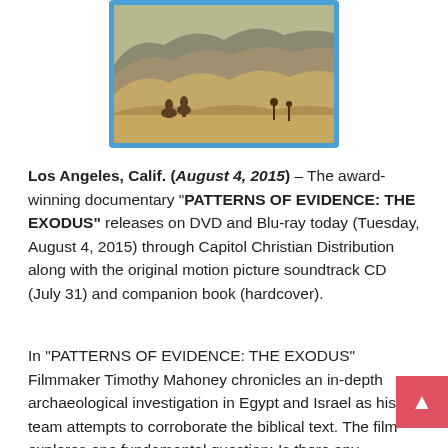[Figure (photo): A Blu-ray disc case showing a sepia-toned desert landscape with sand dunes, camels, and figures in the distance under a hazy sky. Blue border/frame around the image.]
Los Angeles, Calif. (August 4, 2015) – The award-winning documentary "PATTERNS OF EVIDENCE: THE EXODUS" releases on DVD and Blu-ray today (Tuesday, August 4, 2015) through Capitol Christian Distribution along with the original motion picture soundtrack CD (July 31) and companion book (hardcover).
In "PATTERNS OF EVIDENCE: THE EXODUS" Filmmaker Timothy Mahoney chronicles an in-depth archaeological investigation in Egypt and Israel as his team attempts to corroborate the biblical text. The film explores one fundamental question: Is there any evidence that the